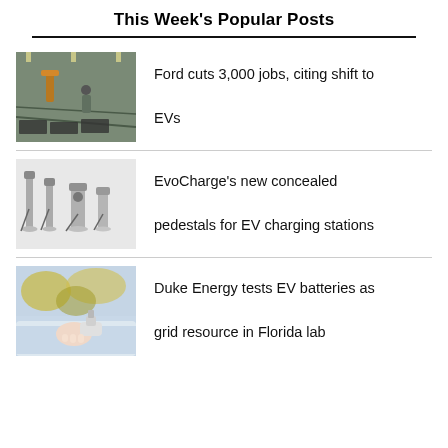This Week's Popular Posts
[Figure (photo): Workers on an automotive assembly line with robotic equipment]
Ford cuts 3,000 jobs, citing shift to EVs
[Figure (photo): EvoCharge concealed pedestals for EV charging stations — multiple charger models shown]
EvoCharge's new concealed pedestals for EV charging stations
[Figure (photo): Person plugging in an EV charging cable outdoors with trees in background]
Duke Energy tests EV batteries as grid resource in Florida lab